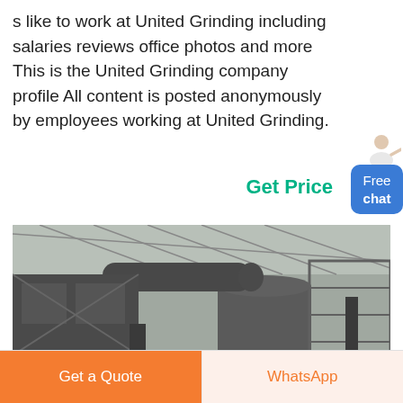s like to work at United Grinding including salaries reviews office photos and more This is the United Grinding company profile All content is posted anonymously by employees working at United Grinding.
Get Price
[Figure (photo): Industrial grinding mill machinery inside a large factory building with metal scaffolding and structures]
Get a Quote
WhatsApp